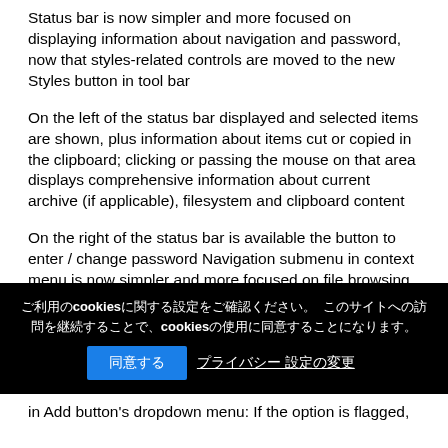Status bar is now simpler and more focused on displaying information about navigation and password, now that styles-related controls are moved to the new Styles button in tool bar
On the left of the status bar displayed and selected items are shown, plus information about items cut or copied in the clipboard; clicking or passing the mouse on that area displays comprehensive information about current archive (if applicable), filesystem and clipboard content
On the right of the status bar is available the button to enter / change password Navigation submenu in context menu is now simpler and more focused on file browsing, with the removal of duplicate sytles-related controls
Unified navigation menu for address bar, breadcrumb and treeview to provide an single, easier to understand structure (organized in the same way of the navigation side bar), and to remove duplicate controls
Added session history popup menu to "back" and "forward"
ご利用のcookiesに関する設定をご確認ください。 このサイトへの訪問を継続することで、cookiesの使用に同意することになります。
同意する　プライバシー 設定の変更
in Add button's dropdown menu: If the option is flagged,